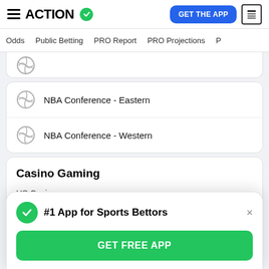ACTION
Odds  Public Betting  PRO Report  PRO Projections
NBA Conference - Eastern
NBA Conference - Western
Casino Gaming
US Casinos
#1 App for Sports Bettors
GET FREE APP